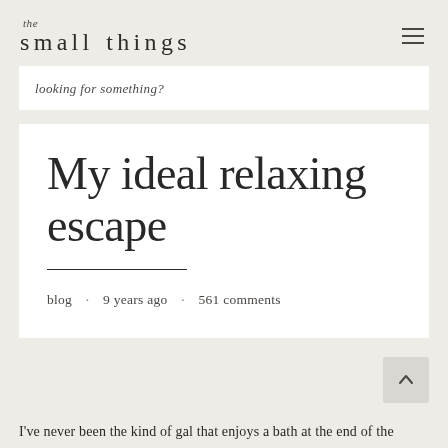the small things
looking for something?
My ideal relaxing escape
blog · 9 years ago · 561 comments
I've never been the kind of gal that enjoys a bath at the end of the